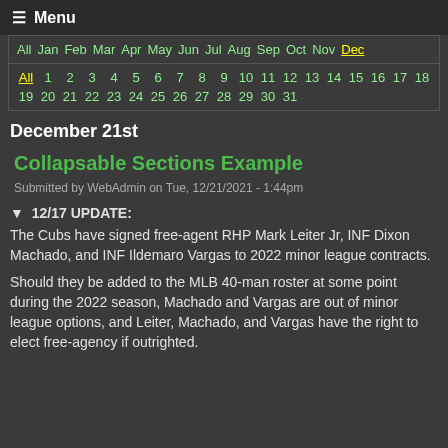≡ Menu
All Jan Feb Mar Apr May Jun Jul Aug Sep Oct Nov Dec
All 1 2 3 4 5 6 7 8 9 10 11 12 13 14 15 16 17 18 19 20 21 22 23 24 25 26 27 28 29 30 31
December 21st
Collapsable Sections Example
Submitted by WebAdmin on Tue, 12/21/2021 - 1:44pm
▼ 12/17 UPDATE:
The Cubs have signed free-agent RHP Mark Leiter Jr, INF Dixon Machado, and INF Ildemaro Vargas to 2022 minor league contracts.
Should they be added to the MLB 40-man roster at some point during the 2022 season, Machado and Vargas are out of minor league options, and Leiter, Machado, and Vargas have the right to elect free-agency if outrighted.